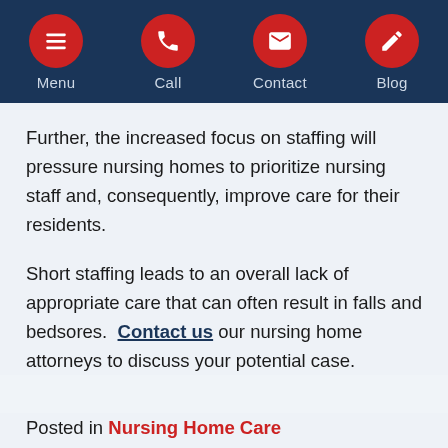Menu | Call | Contact | Blog
Further, the increased focus on staffing will pressure nursing homes to prioritize nursing staff and, consequently, improve care for their residents.
Short staffing leads to an overall lack of appropriate care that can often result in falls and bedsores. Contact us our nursing home attorneys to discuss your potential case.
Posted in Nursing Home Care